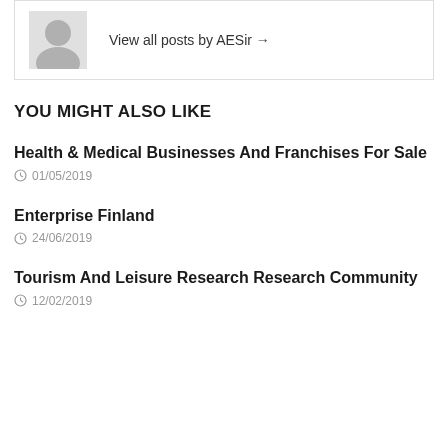[Figure (illustration): Gray silhouette avatar icon of a person, partially cropped, inside a bordered box with a 'View all posts by AESir →' link]
View all posts by AESir →
YOU MIGHT ALSO LIKE
Health & Medical Businesses And Franchises For Sale
01/05/2019
Enterprise Finland
24/06/2019
Tourism And Leisure Research Research Community
12/02/2019